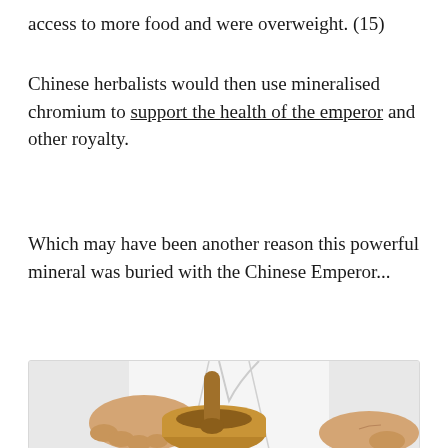access to more food and were overweight. (15)
Chinese herbalists would then use mineralised chromium to support the health of the emperor and other royalty.
Which may have been another reason this powerful mineral was buried with the Chinese Emperor...
[Figure (photo): A person in a white lab coat or doctor's coat using a wooden mortar and pestle, grinding ingredients, with another hand visible in the lower right corner.]